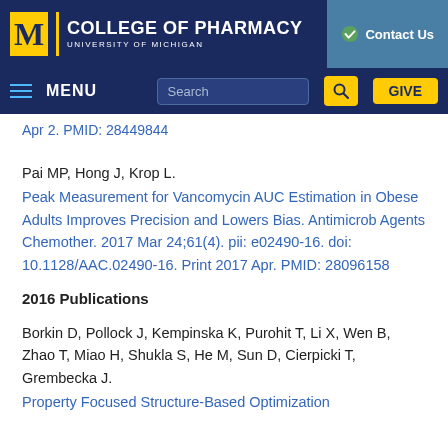COLLEGE OF PHARMACY — UNIVERSITY OF MICHIGAN | Contact Us | MENU | Search | GIVE
Apr 2. PMID: 28449844
Pai MP, Hong J, Krop L.
Peak Measurement for Vancomycin AUC Estimation in Obese Adults Improves Precision and Lowers Bias. Antimicrob Agents Chemother. 2017 Mar 24;61(4). pii: e02490-16. doi: 10.1128/AAC.02490-16. Print 2017 Apr. PMID: 28096158
2016 Publications
Borkin D, Pollock J, Kempinska K, Purohit T, Li X, Wen B, Zhao T, Miao H, Shukla S, He M, Sun D, Cierpicki T, Grembecka J.
Property Focused Structure-Based Optimization